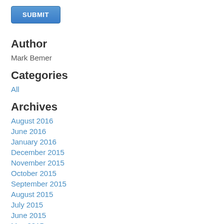[Figure (other): Blue SUBMIT button]
Author
Mark Bemer
Categories
All
Archives
August 2016
June 2016
January 2016
December 2015
November 2015
October 2015
September 2015
August 2015
July 2015
June 2015
May 2015
April 2015